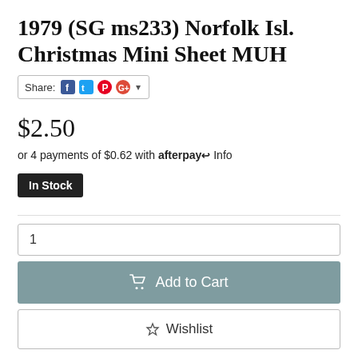1979 (SG ms233) Norfolk Isl. Christmas Mini Sheet MUH
Share: [Facebook] [Twitter] [Pinterest] [Google+] ▾
$2.50
or 4 payments of $0.62 with afterpay Info
In Stock
1
Add to Cart
Wishlist